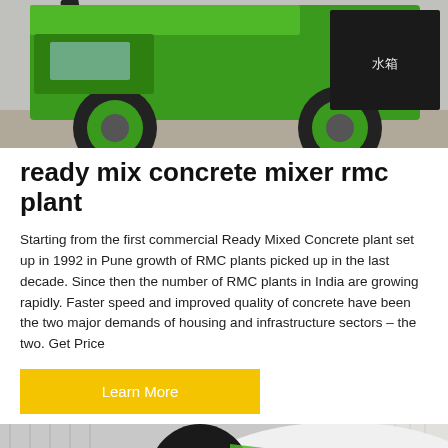[Figure (photo): Green ready mix concrete mixer RMC plant truck photographed from rear-side angle, showing large tires and Chinese characters 水箱 on the tank, against a light background.]
ready mix concrete mixer rmc plant
Starting from the first commercial Ready Mixed Concrete plant set up in 1992 in Pune growth of RMC plants picked up in the last decade. Since then the number of RMC plants in India are growing rapidly. Faster speed and improved quality of concrete have been the two major demands of housing and infrastructure sectors – the two. Get Price
Learn More
[Figure (photo): White and green Talenet concrete mixer drum, showing the TALENET logo on the drum, with a dark scroll-to-top circular button at the bottom right corner.]